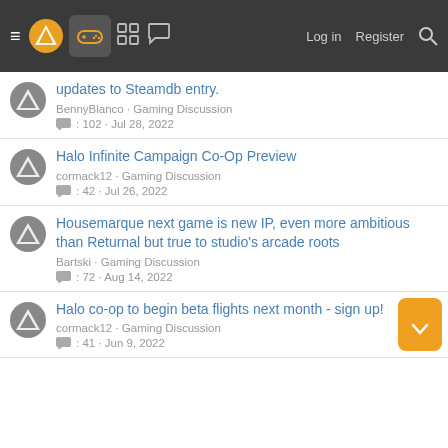Navigation bar with menu, logo, controller icon, grid icon, chat icon, Log in, Register, Search
updates to Steamdb entry.
BennyBlanco · Gaming Discussion
: 102 · Jul 28, 2022
Halo Infinite Campaign Co-Op Preview
cormack12 · Gaming Discussion
: 42 · Jul 26, 2022
Housemarque next game is new IP, even more ambitious than Returnal but true to studio's arcade roots
Bartski · Gaming Discussion
: 72 · Aug 14, 2022
Halo co-op to begin beta flights next month - sign up!
cormack12 · Gaming Discussion
: 41 · Jun 9, 2022